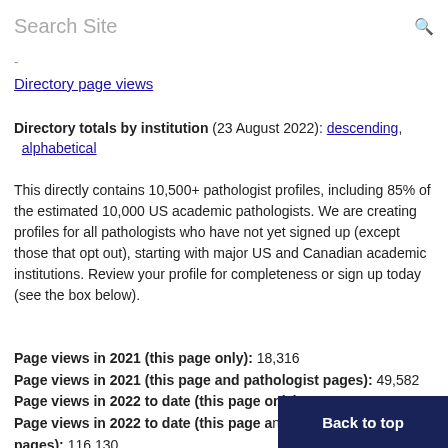Search Site
-
Directory page views
Directory totals by institution (23 August 2022): descending, alphabetical
This directly contains 10,500+ pathologist profiles, including 85% of the estimated 10,000 US academic pathologists. We are creating profiles for all pathologists who have not yet signed up (except those that opt out), starting with major US and Canadian academic institutions. Review your profile for completeness or sign up today (see the box below).
Page views in 2021 (this page only): 18,316
Page views in 2021 (this page and pathologist pages): 49,582
Page views in 2022 to date (this page only): 11,621
Page views in 2022 to date (this page and pathologist pages): 116,130